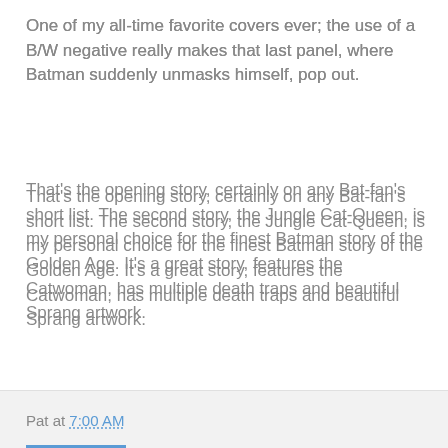One of my all-time favorite covers ever; the use of a B/W negative really makes that last panel, where Batman suddenly unmasks himself, pop out.
That's the opening story, certainly on any Bat-fan's short list. The second story, the Jungle Cat-Queen, is my personal choice for the finest Batman story of the Golden Age. It's a great story, features the Catwoman, has multiple death traps and beautiful Sprang artwork.
The highlight of the rest of the issue is the terrific Sunday strip where the Penguin's real name of Oswald Chesterfield Cobblepot is revealed.
So overall the dad of Vasik, Lidunka and Evicka definitely scored a classic comic. What a shame that it would be another two decades before Batman became generally available in the Czech Republic.
Pat at 7:00 AM